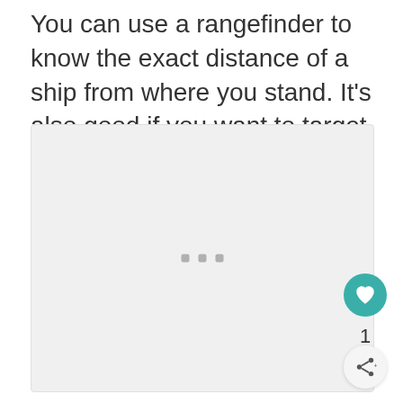You can use a rangefinder to know the exact distance of a ship from where you stand. It's also good if you want to target an object within a few meters.
[Figure (photo): A light gray placeholder image box with three small gray dots in the center, indicating a loading or empty image state.]